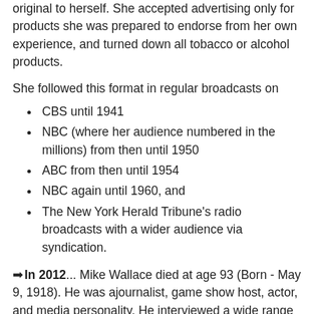original to herself. She accepted advertising only for products she was prepared to endorse from her own experience, and turned down all tobacco or alcohol products.
She followed this format in regular broadcasts on
CBS until 1941
NBC (where her audience numbered in the millions) from then until 1950
ABC from then until 1954
NBC again until 1960, and
The New York Herald Tribune's radio broadcasts with a wider audience via syndication.
➡In 2012... Mike Wallace died at age 93 (Born - May 9, 1918). He was ajournalist, game show host, actor, and media personality. He interviewed a wide range of prominent newsmakers during his seven-decade career. He was one of the original correspondents for CBS' 60 Minutes, which debuted in 1968. Wallace retired as a regular full-time correspondent in 2006, but still appeared occasionally on the